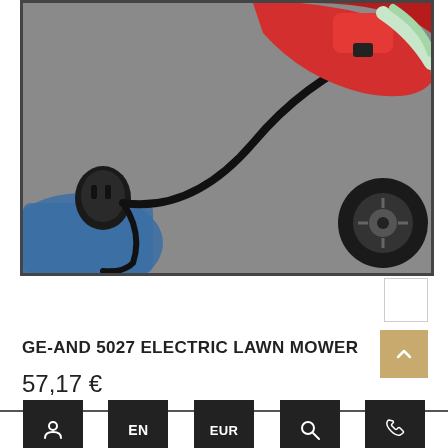[Figure (photo): Close-up photo of a red and black electric lawn mower showing the red handle/body, black power cable, black electrical connector plug, and a wheel with black tire, against a grey background with a blue cloth visible at bottom left.]
GE-AND 5027 ELECTRIC LAWN MOWER
57,17 €
User icon | EN | EUR | Search icon | Phone icon